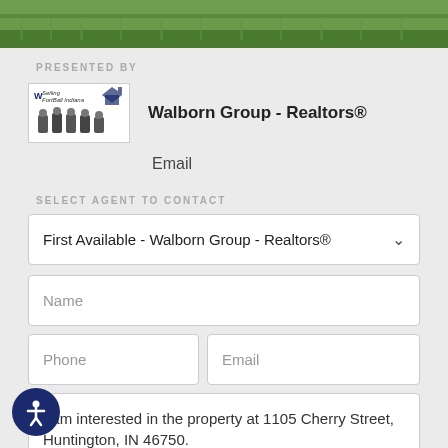[Figure (photo): Green grass/lawn outdoor photo strip at top of page]
MENU ☰
PRESENTED BY
[Figure (logo): Walborn Group Realtors logo with group photo]
Walborn Group - Realtors®
Email
SELECT AGENT TO CONTACT
First Available - Walborn Group - Realtors®
Name
Phone
Email
I am interested in the property at 1105 Cherry Street, Huntington, IN 46750.